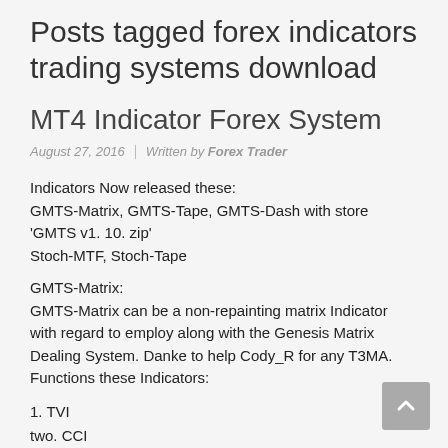Posts tagged forex indicators trading systems download
MT4 Indicator Forex System
August 27, 2016  |  Written by Forex Trader
Indicators Now released these:
GMTS-Matrix, GMTS-Tape, GMTS-Dash with store 'GMTS v1. 10. zip'
Stoch-MTF, Stoch-Tape
GMTS-Matrix:
GMTS-Matrix can be a non-repainting matrix Indicator with regard to employ along with the Genesis Matrix Dealing System. Danke to help Cody_R for any T3MA.
Functions these Indicators:
1. TVI
two. CCI
3. Gann High/Low Activator Indicator
several. T3 Going Usual
Multiple time-frame. Just about all rungs inside graph or